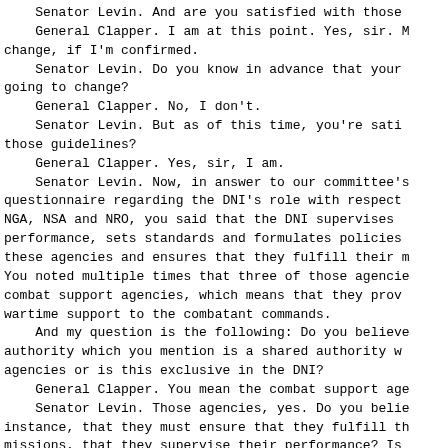Senator Levin. And are you satisfied with those guidelines? General Clapper. I am at this point. Yes, sir. May change, if I'm confirmed. Senator Levin. Do you know in advance that your going to change? General Clapper. No, I don't. Senator Levin. But as of this time, you're satisfied with those guidelines? General Clapper. Yes, sir, I am. Senator Levin. Now, in answer to our committee's questionnaire regarding the DNI's role with respect to DIA, NGA, NSA and NRO, you said that the DNI supervises their performance, sets standards and formulates policies for these agencies and ensures that they fulfill their missions. You noted multiple times that three of those agencies are combat support agencies, which means that they provide wartime support to the combatant commands. And my question is the following: Do you believe the authority which you mention is a shared authority with these agencies or is this exclusive in the DNI? General Clapper. You mean the combat support agencies? Senator Levin. Those agencies, yes. Do you believe, for instance, that they must ensure that they fulfill their missions, that they supervise their performance? Is that a shared responsibility or are you, if you're confirmed, exclusively responsible for those functions of supervising and ensuring that they---- General Clapper. I believe that is a shared responsibility. I think obviously the Secretary of Defense has obligations and responsibilities both in law and executive order to those fighting forces associated with those agencies.